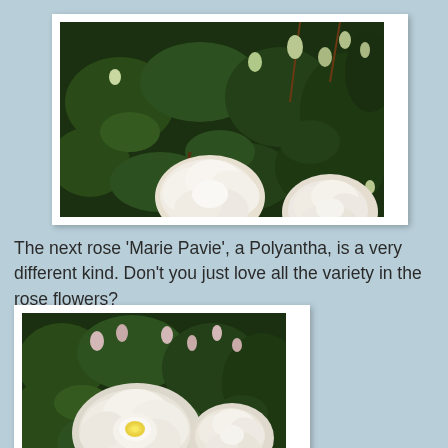[Figure (photo): Close-up photograph of white rose blooms and green leaves and buds against a dark background, with white frame border.]
The next rose 'Marie Pavie', a Polyantha, is a very different kind. Don't you just love all the variety in the rose flowers?
[Figure (photo): Close-up photograph of white rose blooms with a yellow center amid green leaves and pink buds, with white frame border. Partially cropped at bottom.]